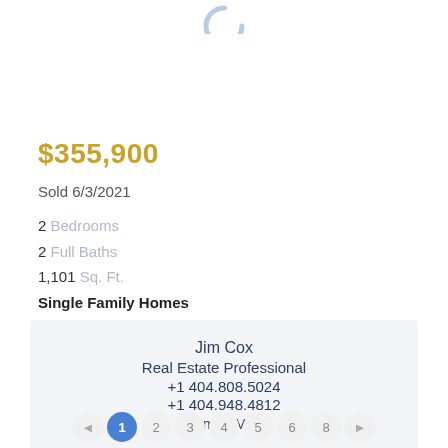[Figure (other): Partial loading spinner icon at top center of page]
$355,900
Sold 6/3/2021
2 Bedrooms
2 Full Baths
1,101 Sq. Ft.
Single Family Homes
MLS# 6875878
ID: 6875878
Jim Cox
Real Estate Professional
+1 404.808.5024
+1 404.948.4812
Email Me
◄ 1 2 3 4 5 6 8 ►